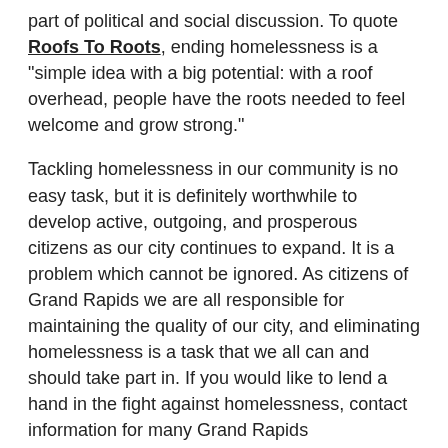part of political and social discussion. To quote Roofs To Roots, ending homelessness is a "simple idea with a big potential: with a roof overhead, people have the roots needed to feel welcome and grow strong."
Tackling homelessness in our community is no easy task, but it is definitely worthwhile to develop active, outgoing, and prosperous citizens as our city continues to expand. It is a problem which cannot be ignored. As citizens of Grand Rapids we are all responsible for maintaining the quality of our city, and eliminating homelessness is a task that we all can and should take part in. If you would like to lend a hand in the fight against homelessness, contact information for many Grand Rapids organizations are listed on the Coalition's website.
[Figure (infographic): Social media icons (Facebook, Twitter, Tumblr, Google+, Reddit) and a green DONATE button]